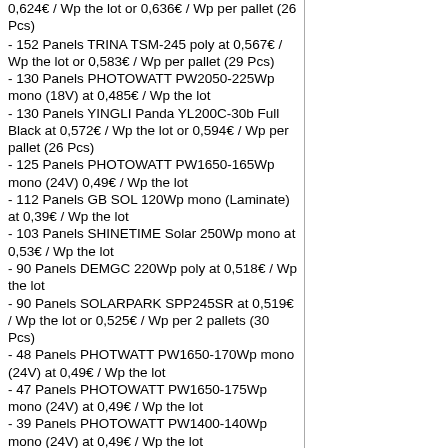0,624€ / Wp the lot or 0,636€ / Wp per pallet (26 Pcs)
- 152 Panels TRINA TSM-245 poly at 0,567€ / Wp the lot or 0,583€ / Wp per pallet (29 Pcs)
- 130 Panels PHOTOWATT PW2050-225Wp mono (18V) at 0,485€ / Wp the lot
- 130 Panels YINGLI Panda YL200C-30b Full Black at 0,572€ / Wp the lot or 0,594€ / Wp per pallet (26 Pcs)
- 125 Panels PHOTOWATT PW1650-165Wp mono (24V) 0,49€ / Wp the lot
- 112 Panels GB SOL 120Wp mono (Laminate) at 0,39€ / Wp the lot
- 103 Panels SHINETIME Solar 250Wp mono at 0,53€ / Wp the lot
- 90 Panels DEMGC 220Wp poly at 0,518€ / Wp the lot
- 90 Panels SOLARPARK SPP245SR at 0,519€ / Wp the lot or 0,525€ / Wp per 2 pallets (30 Pcs)
- 48 Panels PHOTWATT PW1650-170Wp mono (24V) at 0,49€ / Wp the lot
- 47 Panels PHOTOWATT PW1650-175Wp mono (24V) at 0,49€ / Wp the lot
- 39 Panels PHOTOWATT PW1400-140Wp mono (24V) at 0,49€ / Wp the lot
- 20 Panels UPSOLAR 270Wp poly at 0,54€ / Wp the lot
- 17 Panels PHOTOWATT PW2050-200Wp mono (18V) 0,498€ / Wp
PANELS BELOW ARE USED, WITHOUT